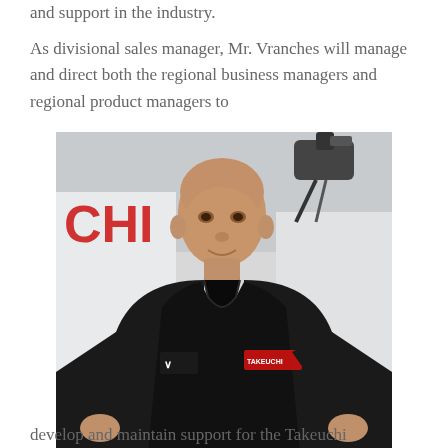and support in the industry.
As divisional sales manager, Mr. Vranches will manage and direct both the regional business managers and regional product managers to
[Figure (photo): A bald man wearing a black polo shirt with Takeuchi and Under Armour logos, standing in front of a white Takeuchi machine in an industrial setting. The machine shows partial text 'CHI' and '35-' visible.]
develop and maintain support for the Takeuchi